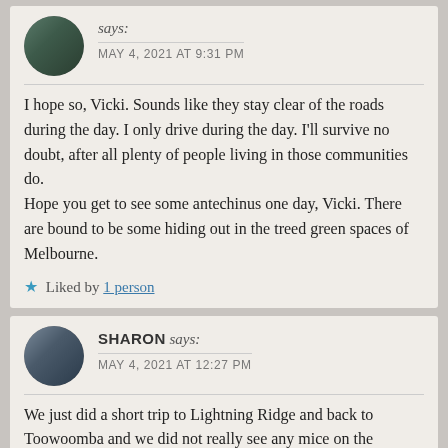says: MAY 4, 2021 AT 9:31 PM
I hope so, Vicki. Sounds like they stay clear of the roads during the day. I only drive during the day. I'll survive no doubt, after all plenty of people living in those communities do.
Hope you get to see some antechinus one day, Vicki. There are bound to be some hiding out in the treed green spaces of Melbourne.
Liked by 1 person
SHARON says: MAY 4, 2021 AT 12:27 PM
We just did a short trip to Lightning Ridge and back to Toowoomba and we did not really see any mice on the